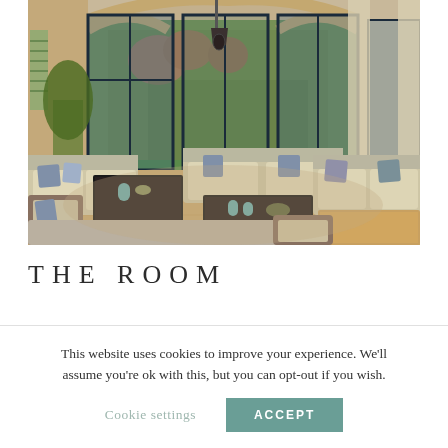[Figure (photo): Interior photo of a luxury villa living room with arched stone architecture, large glass doors opening to a garden with bougainvillea, multiple wicker sofas with cream cushions and patterned pillows arranged around dark wooden coffee tables]
THE ROOM
This website uses cookies to improve your experience. We'll assume you're ok with this, but you can opt-out if you wish.